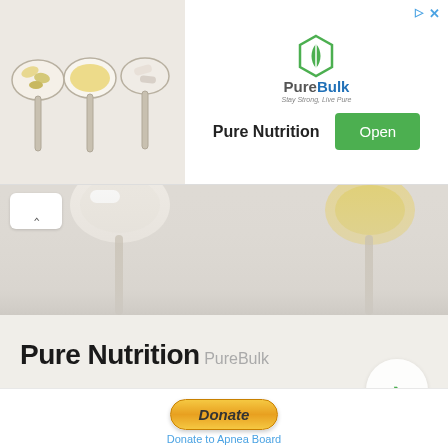[Figure (screenshot): Advertisement banner for PureBulk Pure Nutrition app showing supplements on spoons photo, PureBulk logo, Pure Nutrition text, and green Open button with ad corner icons]
[Figure (photo): Background photo of nutritional supplement capsules and pills on spoons, partially visible in the expanded ad preview area below the banner]
Pure Nutrition
PureBulk
[Figure (screenshot): Donate button area with PayPal Donate button and Donate to Apnea Board label]